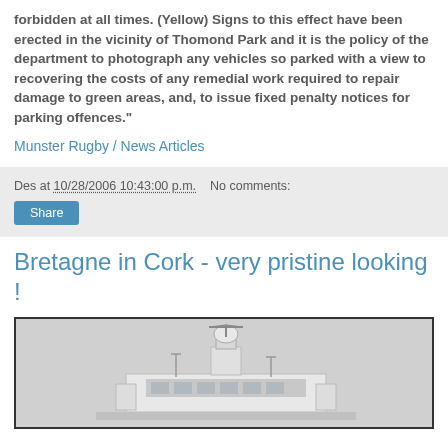forbidden at all times. (Yellow) Signs to this effect have been erected in the vicinity of Thomond Park and it is the policy of the department to photograph any vehicles so parked with a view to recovering the costs of any remedial work required to repair damage to green areas, and, to issue fixed penalty notices for parking offences."
Munster Rugby / News Articles
Des at 10/28/2006 10:43:00 p.m.   No comments:
Share
Bretagne in Cork - very pristine looking !
[Figure (photo): Photo of a ship (Bretagne) in Cork harbour, showing the upper structure and radar equipment of the vessel against a light grey sky.]